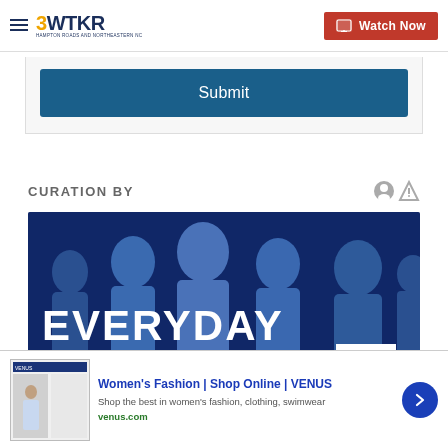3WTKR | Watch Now
Submit
CURATION BY
[Figure (photo): Group of diverse people smiling, with large white text overlay reading EVERYDAY HERO]
[Figure (screenshot): Advertisement for Women's Fashion | Shop Online | VENUS — Shop the best in women's fashion, clothing, swimwear — venus.com]